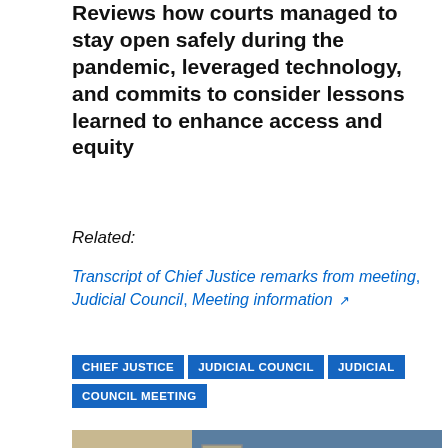Reviews how courts managed to stay open safely during the pandemic, leveraged technology, and commits to consider lessons learned to enhance access and equity
Related:
Transcript of Chief Justice remarks from meeting, Judicial Council, Meeting information
CHIEF JUSTICE
JUDICIAL COUNCIL
JUDICIAL COUNCIL MEETING
[Figure (photo): A woman with dark hair wearing a dark blazer and white shirt, speaking or presenting, with a beige wall and blue background visible.]